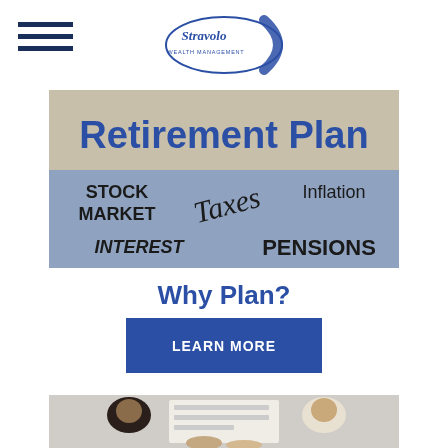Stravolo Wealth Management logo and navigation
[Figure (infographic): Retirement Plan infographic with words: STOCK MARKET, Taxes, Inflation, INTEREST, PENSIONS on a grey/blue background]
Why Plan?
LEARN MORE
[Figure (photo): People sitting at a table reviewing documents, viewed from above]